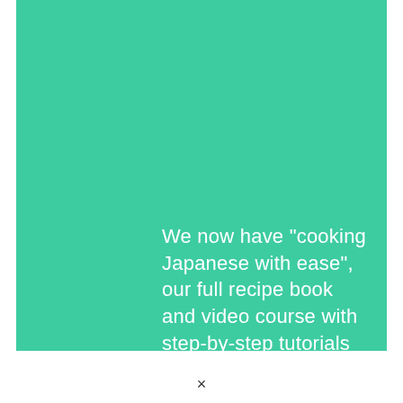[Figure (illustration): Large teal/green rectangle background filling most of the upper portion of the page.]
We now have "cooking Japanese with ease", our full recipe book and video course with step-by-step tutorials on your favorite
×